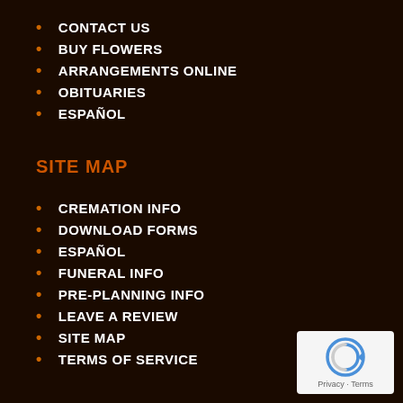CONTACT US
BUY FLOWERS
ARRANGEMENTS ONLINE
OBITUARIES
ESPAÑOL
SITE MAP
CREMATION INFO
DOWNLOAD FORMS
ESPAÑOL
FUNERAL INFO
PRE-PLANNING INFO
LEAVE A REVIEW
SITE MAP
TERMS OF SERVICE